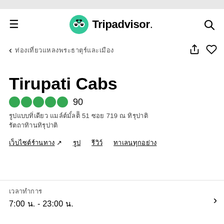[Figure (logo): Tripadvisor logo with green owl circle icon and text 'Tripadvisor']
< thailand attractions (Thai characters)
Tirupati Cabs
90 (5 green circles rating)
Thai address text with 51 and 719 numbers
Thai link text with external arrow, Thai links for reviews, photos, and info
Thai label for hours: 7:00 น. - 23:00 น.